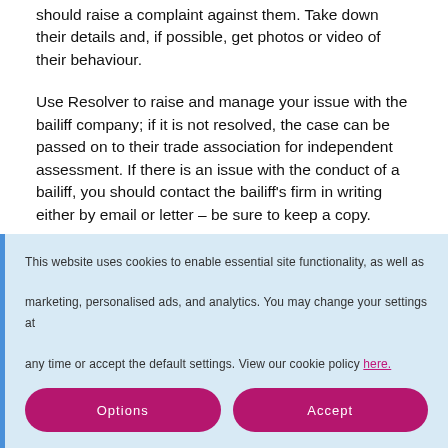should raise a complaint against them. Take down their details and, if possible, get photos or video of their behaviour.
Use Resolver to raise and manage your issue with the bailiff company; if it is not resolved, the case can be passed on to their trade association for independent assessment. If there is an issue with the conduct of a bailiff, you should contact the bailiff's firm in writing either by email or letter – be sure to keep a copy.
The bailiff will contact the creditor to seek their opinion; the creditor should then decide whether or not
This website uses cookies to enable essential site functionality, as well as marketing, personalised ads, and analytics. You may change your settings at any time or accept the default settings. View our cookie policy here.